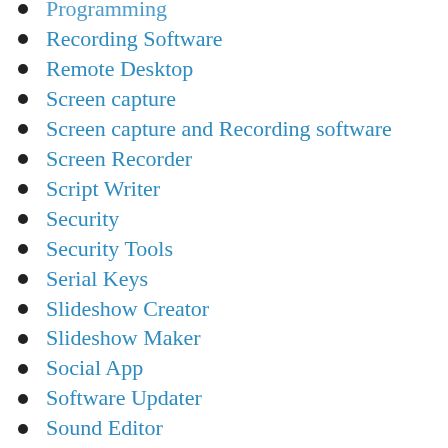Programming
Recording Software
Remote Desktop
Screen capture
Screen capture and Recording software
Screen Recorder
Script Writer
Security
Security Tools
Serial Keys
Slideshow Creator
Slideshow Maker
Social App
Software Updater
Sound Editor
System Care
Text Editor